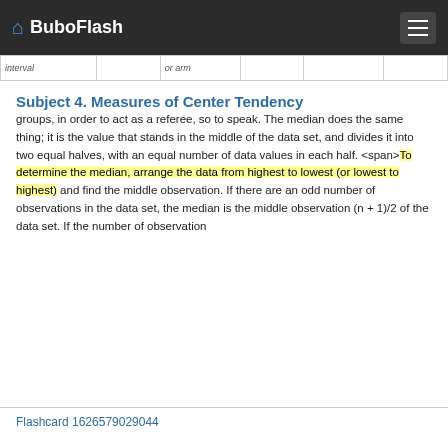BuboFlash
| interval |  | or arm |  |  |  |
| --- | --- | --- | --- | --- | --- |
|  |
Subject 4. Measures of Center Tendency
groups, in order to act as a referee, so to speak. The median does the same thing; it is the value that stands in the middle of the data set, and divides it into two equal halves, with an equal number of data values in each half. <span>To determine the median, arrange the data from highest to lowest (or lowest to highest) and find the middle observation. If there are an odd number of observations in the data set, the median is the middle observation (n + 1)/2 of the data set. If the number of observation
Flashcard 1626579029044